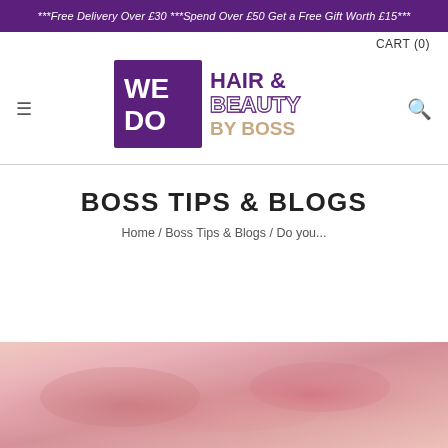***Free Delivery Over £30 ***Spend Over £50 Get a Free Gift Worth £15***
CART (0)
[Figure (logo): WeDo Hair & Beauty by Boss logo — purple square with 'WE DO' text, next to 'HAIR & BEAUTY BY BOSS' text in purple and tan]
BOSS TIPS & BLOGS
Home / Boss Tips & Blogs / Do you...
[Figure (photo): Close-up photo of skin showing redness/irritation, pinkish tones]